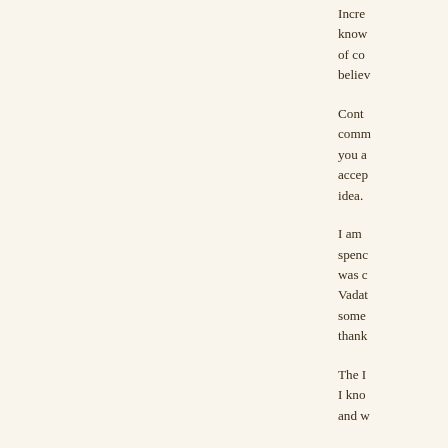Incre know of co believ
Cont comm you a accep idea.
I am spenc was c Vadat some thank
The I I kno and w